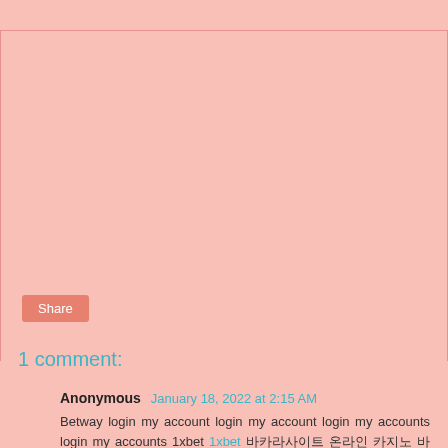Share
1 comment:
Anonymous  January 18, 2022 at 2:15 AM
Betway login my account login my account login my accounts login my accounts 1xbet 1xbet 바카라사이트 온라인 카지노 바카라사이트 온라인 카지노 dafabet dafabet 594Play Sbo Slot Online at Lacbet
Reply